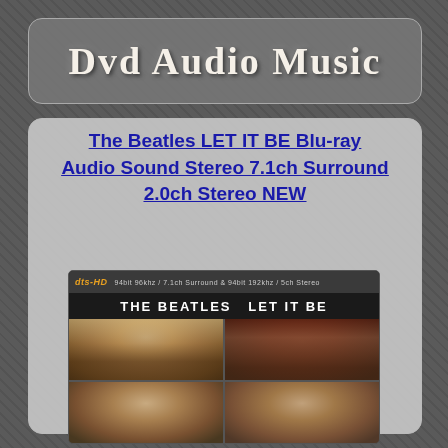Dvd Audio Music
The Beatles LET IT BE Blu-ray Audio Sound Stereo 7.1ch Surround 2.0ch Stereo NEW
[Figure (photo): Album cover for The Beatles Let It Be Blu-ray Audio disc, showing four portrait photos of The Beatles with DTS-HD logo and text '94bit 96khz / 7.1ch Surround & 94bit 192khz / 5ch Stereo' along the top, and 'THE BEATLES LET IT BE' as the album title.]